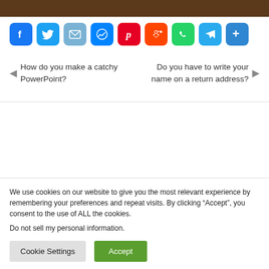[Figure (screenshot): Dark brown banner at top of page]
[Figure (infographic): Row of social media share icons: Facebook (blue), Twitter (blue), Email (blue), Messenger (blue), Pinterest (red), Reddit (orange-red), WhatsApp (green), Telegram (light blue), Share/More (blue)]
How do you make a catchy PowerPoint?
Do you have to write your name on a return address?
We use cookies on our website to give you the most relevant experience by remembering your preferences and repeat visits. By clicking “Accept”, you consent to the use of ALL the cookies.
Do not sell my personal information.